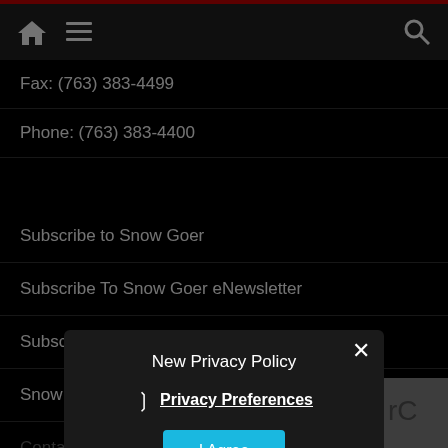[Figure (screenshot): Navigation bar with home icon, hamburger menu icon, and search icon on dark background with red top border]
Fax: (763) 383-4499
Phone: (763) 383-4400
Subscribe to Snow Goer
Subscribe To Snow Goer eNewsletter
Subscriber Login
Snow Goer Store
Contact Snow Goer
Advertise With Snow Goer
About Us
Reader Image Gallery
Privacy Policy
New Privacy Policy
Privacy Preferences
I Agree